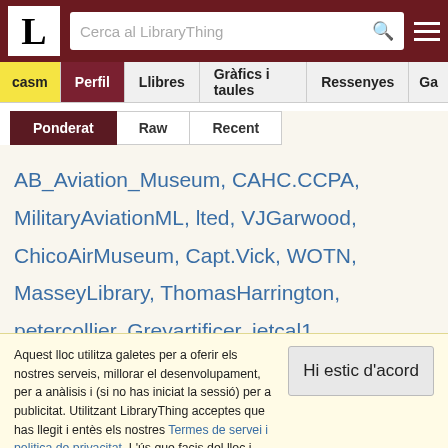L — Cerca al LibraryThing
casm | Perfil | Llibres | Gràfics i taules | Ressenyes | Ga
Ponderat | Raw | Recent
AB_Aviation_Museum, CAHC.CCPA, MilitaryAviationML, lted, VJGarwood, ChicoAirMuseum, Capt.Vick, WOTN, MasseyLibrary, ThomasHarrington, petercollier, Greyartificer, jetcal1, VintageAeroWriter, rudel519, HillerAviationMuseum, SirArthurD, Crossman, kaki1,
Aquest lloc utilitza galetes per a oferir els nostres serveis, millorar el desenvolupament, per a anàlisis i (si no has iniciat la sessió) per a publicitat. Utilitzant LibraryThing acceptes que has llegit i entès els nostres Termes de servei i politica de privacitat. L'ús que facis del lloc i dels seus serveis està subjecte a aquestes politiques i termes.
Hi estic d'acord